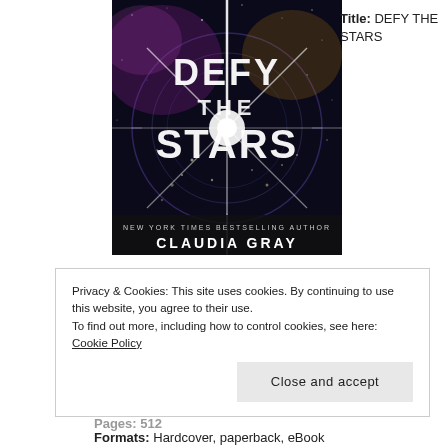[Figure (photo): Book cover of 'Defy the Stars' by Claudia Gray. Dark space background with colorful star burst and large title text. Bottom reads 'NEW YORK TIMES BESTSELLING AUTHOR CLAUDIA GRAY'.]
Title: DEFY THE STARS
Privacy & Cookies: This site uses cookies. By continuing to use this website, you agree to their use.
To find out more, including how to control cookies, see here: Cookie Policy
Close and accept
Pages: 512
Formats: Hardcover, paperback, eBook